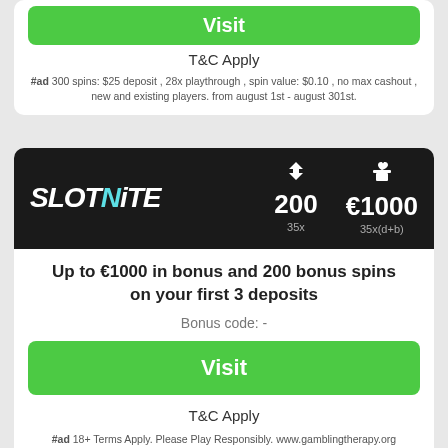[Figure (other): Green Visit button at top of page]
T&C Apply
#ad 300 spins: $25 deposit , 28x playthrough , spin value: $0.10 , no max cashout , new and existing players. from august 1st - august 301st.
[Figure (other): Slotnite casino logo card with dark background showing 200 free spins and €1000 bonus, 35x wagering requirements]
Up to €1000 in bonus and 200 bonus spins on your first 3 deposits
Bonus code: -
[Figure (other): Green Visit button]
T&C Apply
#ad 18+ Terms Apply. Please Play Responsibly. www.gamblingtherapy.org